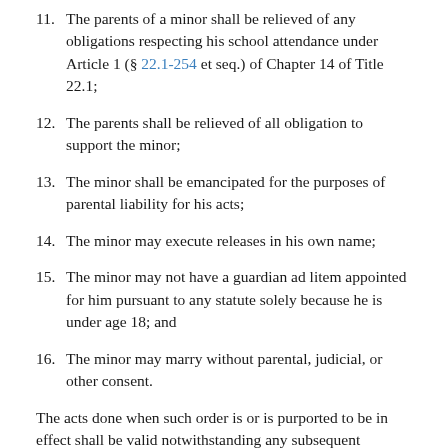11. The parents of a minor shall be relieved of any obligations respecting his school attendance under Article 1 (§ 22.1-254 et seq.) of Chapter 14 of Title 22.1;
12. The parents shall be relieved of all obligation to support the minor;
13. The minor shall be emancipated for the purposes of parental liability for his acts;
14. The minor may execute releases in his own name;
15. The minor may not have a guardian ad litem appointed for him pursuant to any statute solely because he is under age 18; and
16. The minor may marry without parental, judicial, or other consent.
The acts done when such order is or is purported to be in effect shall be valid notwithstanding any subsequent